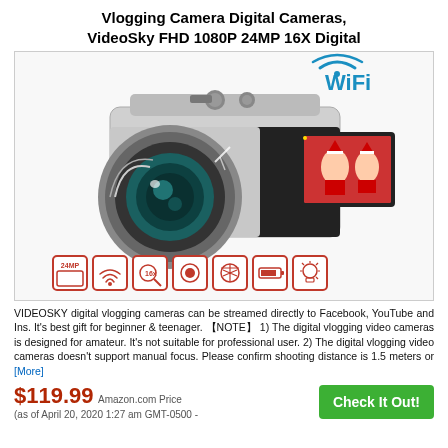Vlogging Camera Digital Cameras, VideoSky FHD 1080P 24MP 16X Digital
[Figure (photo): VideoSky digital vlogging camera with large lens, flip screen showing Christmas photo, WiFi label top right, and feature icons at bottom]
VIDEOSKY digital vlogging cameras can be streamed directly to Facebook, YouTube and Ins. It's best gift for beginner & teenager. 【NOTE】 1) The digital vlogging video cameras is designed for amateur. It's not suitable for professional user. 2) The digital vlogging video cameras doesn't support manual focus. Please confirm shooting distance is 1.5 meters or [More]
$119.99 Amazon.com Price (as of April 20, 2020 1:27 am GMT-0500 -
Check It Out!